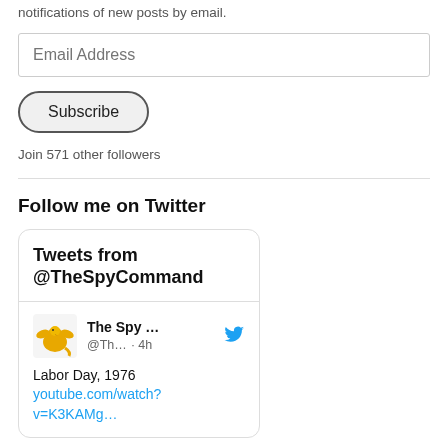notifications of new posts by email.
Email Address
Subscribe
Join 571 other followers
Follow me on Twitter
[Figure (screenshot): Twitter widget showing 'Tweets from @TheSpyCommand' header and a tweet card with griffin logo avatar, handle 'The Spy ... @Th... · 4h', tweet text 'Labor Day, 1976' and link 'youtube.com/watch?v=K3KAMg...']